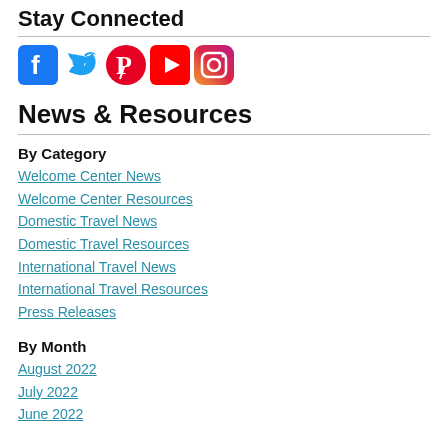Stay Connected
[Figure (illustration): Five social media icons: Facebook (blue), Twitter (light blue), Pinterest (red/pink), YouTube (red), Instagram (gradient)]
News & Resources
By Category
Welcome Center News
Welcome Center Resources
Domestic Travel News
Domestic Travel Resources
International Travel News
International Travel Resources
Press Releases
By Month
August 2022
July 2022
June 2022